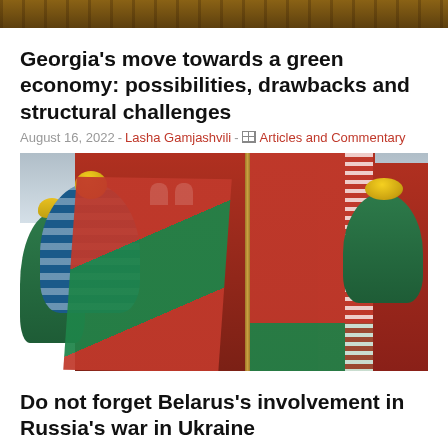[Figure (photo): Top cropped photo of a building, partially visible]
Georgia's move towards a green economy: possibilities, drawbacks and structural challenges
August 16, 2022 - Lasha Gamjashvili - Articles and Commentary
[Figure (photo): Photo of Belarusian flag in front of St. Basil's Cathedral in Moscow, Russia]
Do not forget Belarus's involvement in Russia's war in Ukraine